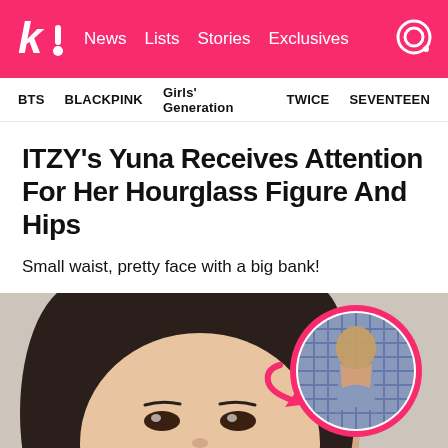k! News Lists Stories Exclusives
BTS  BLACKPINK  Girls' Generation  TWICE  SEVENTEEN
ITZY's Yuna Receives Attention For Her Hourglass Figure And Hips
Small waist, pretty face with a big bank!
[Figure (photo): Close-up photo of ITZY's Yuna face, with a circular inset showing her hourglass figure in a blue plaid dress]